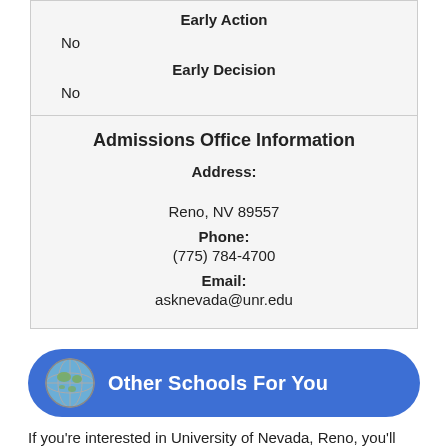| Early Action |  |
| No |  |
| Early Decision |  |
| No |  |
| Admissions Office Information |
| --- |
| Address: |  |
| Reno, NV 89557 |  |
| Phone: |  |
| (775) 784-4700 |  |
| Email: |  |
| asknevada@unr.edu |  |
[Figure (illustration): Blue rounded button with globe icon labeled 'Other Schools For You']
If you're interested in University of Nevada, Reno, you'll probably be